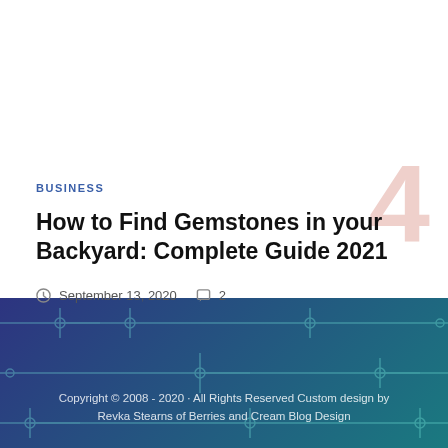BUSINESS
How to Find Gemstones in your Backyard: Complete Guide 2021
September 13, 2020   2
ABOUT ME   EMAIL SANDY
HOME DÉCOR 'WRITE FOR US'
Copyright © 2008 - 2020 · All Rights Reserved Custom design by Revka Stearns of Berries and Cream Blog Design